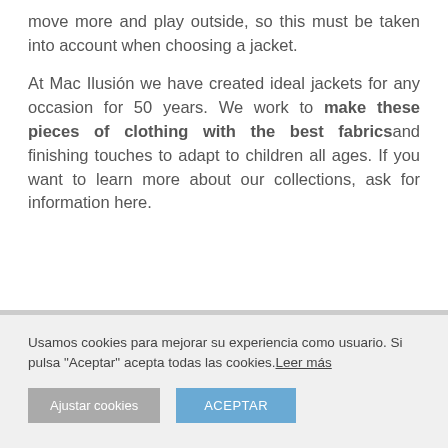move more and play outside, so this must be taken into account when choosing a jacket.
At Mac Ilusión we have created ideal jackets for any occasion for 50 years. We work to make these pieces of clothing with the best fabrics and finishing touches to adapt to children all ages. If you want to learn more about our collections, ask for information here.
Usamos cookies para mejorar su experiencia como usuario. Si pulsa "Aceptar" acepta todas las cookies. Leer más